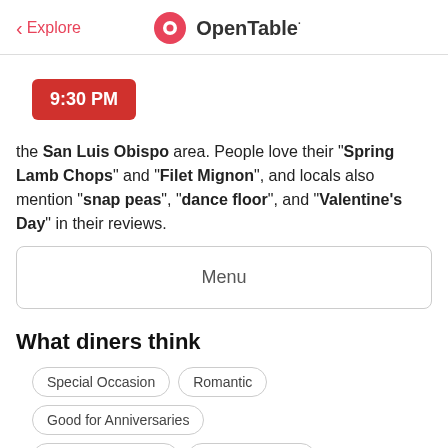< Explore   OpenTable
9:30 PM
the San Luis Obispo area. People love their "Spring Lamb Chops" and "Filet Mignon", and locals also mention "snap peas", "dance floor", and "Valentine's Day" in their reviews.
Menu
What diners think
Special Occasion
Romantic
Good for Anniversaries
Good for Birthdays
Good for a Date
OpenTable Diner ★★★★★ 5
Mare2K ★★★★★